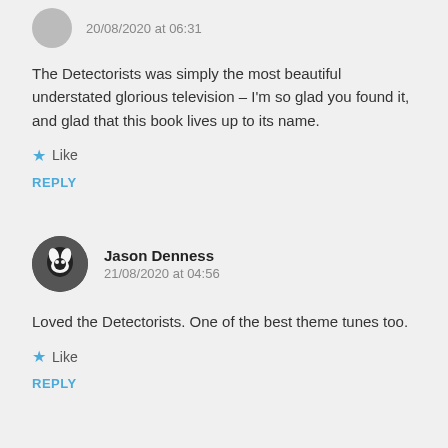20/08/2020 at 06:31
The Detectorists was simply the most beautiful understated glorious television – I'm so glad you found it, and glad that this book lives up to its name.
Like
REPLY
Jason Denness
21/08/2020 at 04:56
Loved the Detectorists. One of the best theme tunes too.
Like
REPLY